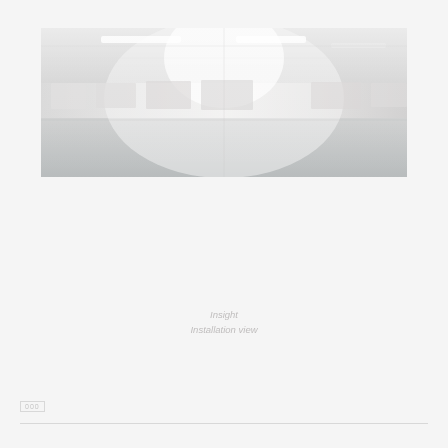[Figure (photo): Wide panoramic view of a white gallery space with artworks hanging on the walls. The room has fluorescent ceiling lights and a grey floor. Multiple rectangular paintings or prints are hung at regular intervals along the white walls.]
Insight
Installation view
000